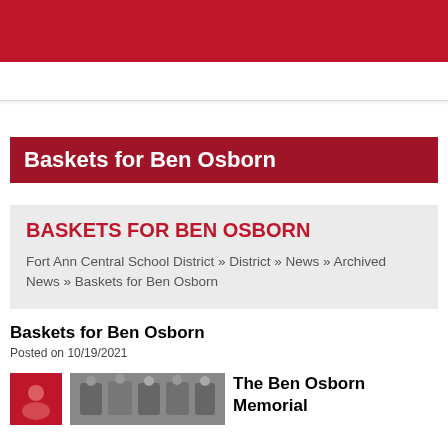Baskets for Ben Osborn
BASKETS FOR BEN OSBORN
Fort Ann Central School District » District » News » Archived News » Baskets for Ben Osborn
Baskets for Ben Osborn
Posted on 10/19/2021
[Figure (photo): Small red decorative photo placeholder and a group photo of people]
The Ben Osborn Memorial